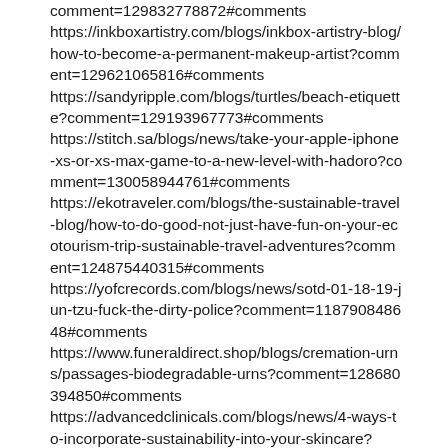comment=129832778872#comments
https://inkboxartistry.com/blogs/inkbox-artistry-blog/how-to-become-a-permanent-makeup-artist?comment=129621065816#comments
https://sandyripple.com/blogs/turtles/beach-etiquette?comment=129193967773#comments
https://stitch.sa/blogs/news/take-your-apple-iphone-xs-or-xs-max-game-to-a-new-level-with-hadoro?comment=130058944761#comments
https://ekotraveler.com/blogs/the-sustainable-travel-blog/how-to-do-good-not-just-have-fun-on-your-ecotourism-trip-sustainable-travel-adventures?comment=124875440315#comments
https://yofcrecords.com/blogs/news/sotd-01-18-19-jun-tzu-fuck-the-dirty-police?comment=118790848648#comments
https://www.funeraldirect.shop/blogs/cremation-urns/passages-biodegradable-urns?comment=128680394850#comments
https://advancedclinicals.com/blogs/news/4-ways-to-incorporate-sustainability-into-your-skincare?